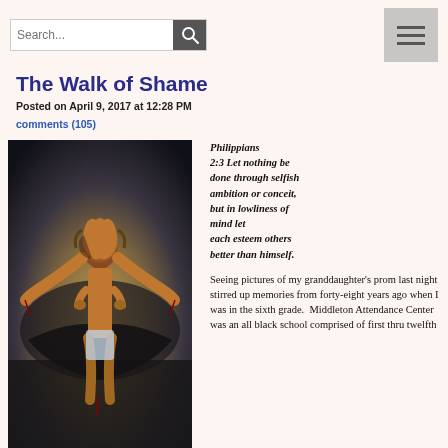Search... [search button] [hamburger menu]
The Walk of Shame
Posted on April 9, 2017 at 12:28 PM
comments (105)
[Figure (illustration): Painting of a crucified figure with arms outstretched against a dark dramatic sky]
Philippians 2:3 Let nothing be done through selfish ambition or conceit, but in lowliness of mind let each esteem others better than himself.
Seeing pictures of my granddaughter's prom last night stirred up memories from forty-eight years ago when I was in the sixth grade. Middleton Attendance Center was an all black school comprised of first thru twelfth